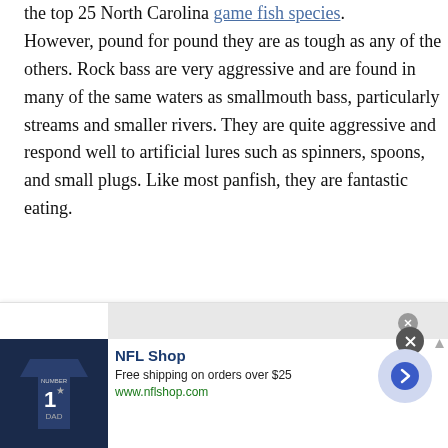the top 25 North Carolina game fish species. However, pound for pound they are as tough as any of the others. Rock bass are very aggressive and are found in many of the same waters as smallmouth bass, particularly streams and smaller rivers. They are quite aggressive and respond well to artificial lures such as spinners, spoons, and small plugs. Like most panfish, they are fantastic eating.
[Figure (screenshot): Advertisement banner for NFL Shop showing a Dallas Cowboys jersey, text 'NFL Shop', 'Free shipping on orders over $25', 'www.nflshop.com', with a right-arrow button and close/X button.]